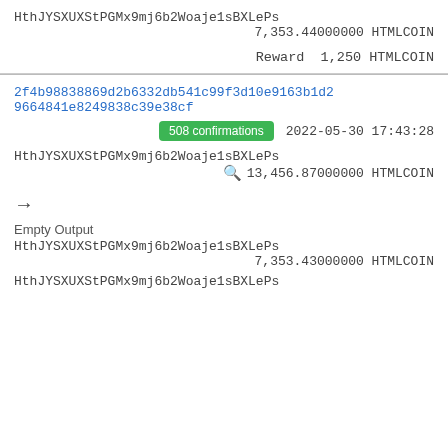HthJYSXUXStPGMx9mj6b2Woaje1sBXLePs
7,353.44000000 HTMLCOIN
Reward  1,250 HTMLCOIN
2f4b98838869d2b6332db541c99f3d10e9163b1d29664841e8249838c39e38cf
508 confirmations  2022-05-30 17:43:28
HthJYSXUXStPGMx9mj6b2Woaje1sBXLePs
13,456.87000000 HTMLCOIN
→
Empty Output
HthJYSXUXStPGMx9mj6b2Woaje1sBXLePs
7,353.43000000 HTMLCOIN
HthJYSXUXStPGMx9mj6b2Woaje1sBXLePs